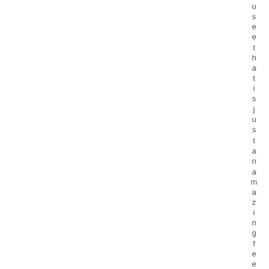use ethat is just an amazing feeling.